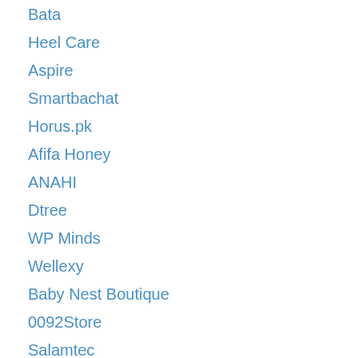Bata
Heel Care
Aspire
Smartbachat
Horus.pk
Afifa Honey
ANAHI
Dtree
WP Minds
Wellexy
Baby Nest Boutique
0092Store
Salamtec
DYZ CLAY
ITrade.pk